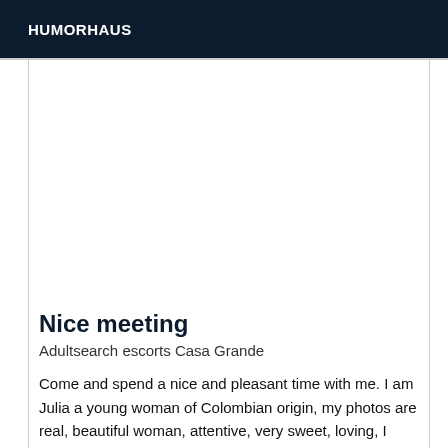HUMORHAUS
Nice meeting
Adultsearch escorts Casa Grande
Come and spend a nice and pleasant time with me. I am Julia a young woman of Colombian origin, my photos are real, beautiful woman, attentive, very sweet, loving, I